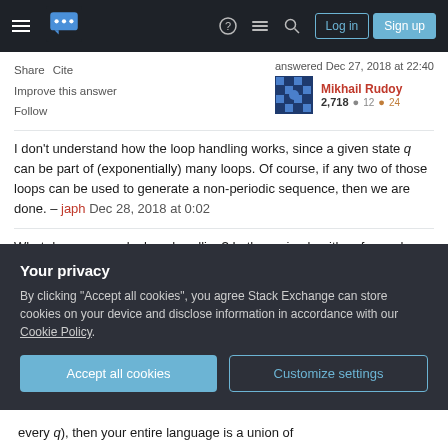Stack Exchange navigation bar with Log in and Sign up buttons
Share   Cite
Improve this answer
Follow
answered Dec 27, 2018 at 22:40
Mikhail Rudoy
2,718 ● 12 ● 24
I don't understand how the loop handling works, since a given state q can be part of (exponentially) many loops. Of course, if any two of those loops can be used to generate a non-periodic sequence, then we are done. – japh Dec 28, 2018 at 0:02
What do you mean by loop handling? In the main algorithm, for each state q you pick just one loop that
Your privacy
By clicking "Accept all cookies", you agree Stack Exchange can store cookies on your device and disclose information in accordance with our Cookie Policy.
Accept all cookies    Customize settings
every q), then your entire language is a union of